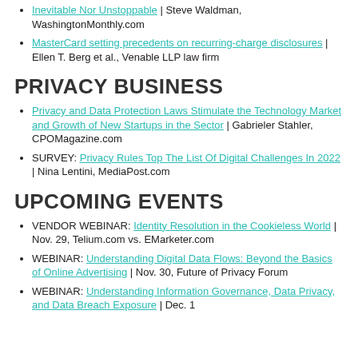Inevitable Nor Unstoppable | Steve Waldman, WashingtonMonthly.com
MasterCard setting precedents on recurring-charge disclosures | Ellen T. Berg et al., Venable LLP law firm
PRIVACY BUSINESS
Privacy and Data Protection Laws Stimulate the Technology Market and Growth of New Startups in the Sector | Gabrieler Stahler, CPOMagazine.com
SURVEY: Privacy Rules Top The List Of Digital Challenges In 2022 | Nina Lentini, MediaPost.com
UPCOMING EVENTS
VENDOR WEBINAR: Identity Resolution in the Cookieless World | Nov. 29, Telium.com vs. EMarketer.com
WEBINAR: Understanding Digital Data Flows: Beyond the Basics of Online Advertising | Nov. 30, Future of Privacy Forum
WEBINAR: Understanding Information Governance, Data Privacy, and Data Breach Exposure | Dec. 1